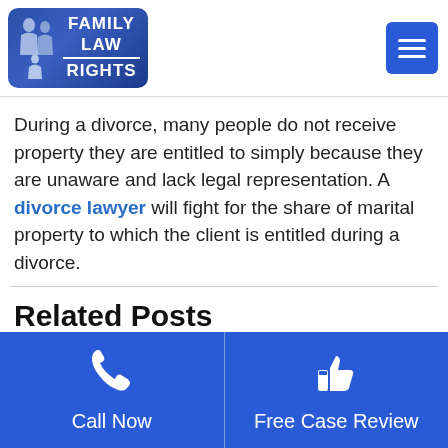[Figure (logo): Family Law Rights logo — blue rounded rectangle with stylized family figures silhouette on the left and 'FAMILY LAW RIGHTS' text in white on the right, with a horizontal line under 'FAMILY LAW']
During a divorce, many people do not receive property they are entitled to simply because they are unaware and lack legal representation. A divorce lawyer will fight for the share of marital property to which the client is entitled during a divorce.
Related Posts
Call Now
Free Case Review